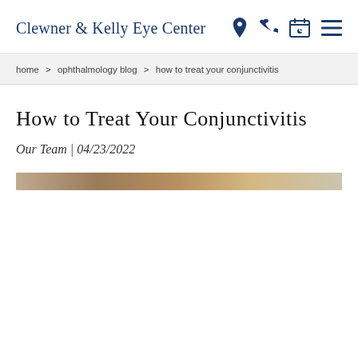Clewner & Kelly Eye Center
home > ophthalmology blog > how to treat your conjunctivitis
How to Treat Your Conjunctivitis
Our Team | 04/23/2022
[Figure (photo): Partial top edge of a photo, showing a cropped image related to conjunctivitis treatment]